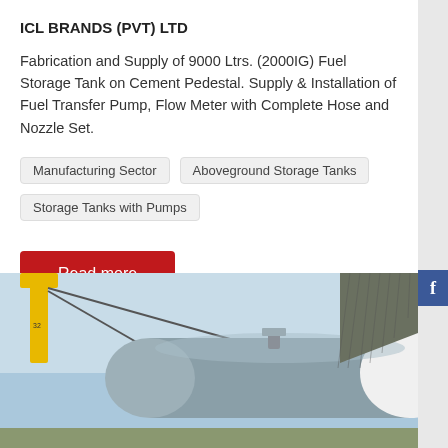ICL BRANDS (PVT) LTD
Fabrication and Supply of 9000 Ltrs. (2000IG) Fuel Storage Tank on Cement Pedestal. Supply & Installation of Fuel Transfer Pump, Flow Meter with Complete Hose and Nozzle Set.
Manufacturing Sector
Aboveground Storage Tanks
Storage Tanks with Pumps
Read more
[Figure (photo): A large cylindrical fuel storage tank being lifted by a crane with chains. Blue sky background, partial view of a corrugated metal structure on the right.]